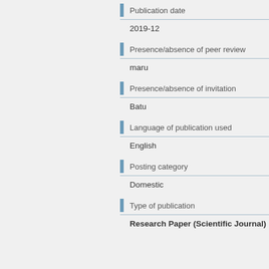Publication date
2019-12
Presence/absence of peer review
maru
Presence/absence of invitation
Batu
Language of publication used
English
Posting category
Domestic
Type of publication
Research Paper (Scientific Journal)